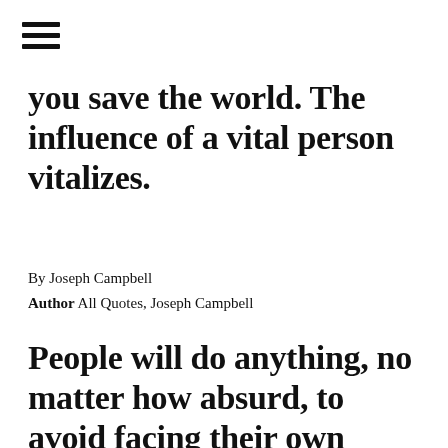[Figure (other): Hamburger menu icon — three horizontal black bars]
you save the world. The influence of a vital person vitalizes.
By Joseph Campbell
Author  All Quotes, Joseph Campbell
People will do anything, no matter how absurd, to avoid facing their own souls.